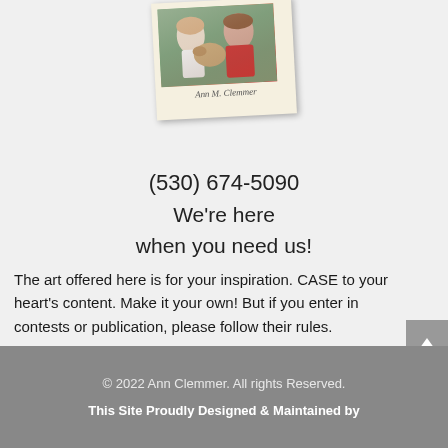[Figure (photo): Polaroid-style photo of Ann M. Clemmer with a dog, signed with cursive name 'Ann M. Clemmer']
(530) 674-5090
We're here
when you need us!
The art offered here is for your inspiration. CASE to your heart's content. Make it your own! But if you enter in contests or publication, please follow their rules.
© 2022 Ann Clemmer. All rights Reserved.
This Site Proudly Designed & Maintained by